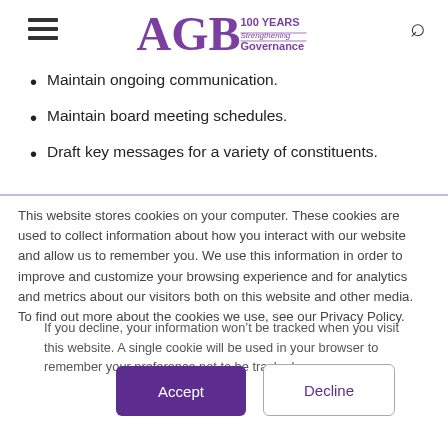AGB 100 YEARS Strengthening Governance
Maintain ongoing communication.
Maintain board meeting schedules.
Draft key messages for a variety of constituents.
This website stores cookies on your computer. These cookies are used to collect information about how you interact with our website and allow us to remember you. We use this information in order to improve and customize your browsing experience and for analytics and metrics about our visitors both on this website and other media. To find out more about the cookies we use, see our Privacy Policy.
If you decline, your information won’t be tracked when you visit this website. A single cookie will be used in your browser to remember your preference not to be tracked.